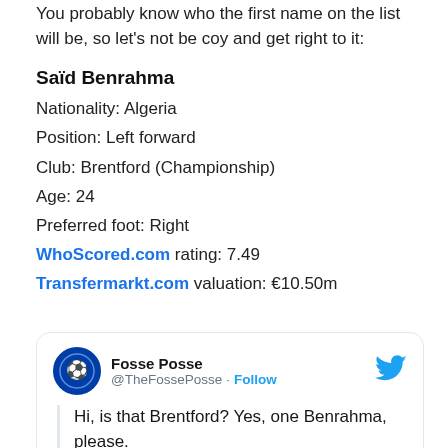You probably know who the first name on the list will be, so let's not be coy and get right to it:
Saïd Benrahma
Nationality: Algeria
Position: Left forward
Club: Brentford (Championship)
Age: 24
Preferred foot: Right
WhoScored.com rating: 7.49
Transfermarkt.com valuation: €10.50m
[Figure (screenshot): Embedded tweet from @TheFossePosse (Fosse Posse) with text: 'Hi, is that Brentford? Yes, one Benrahma, please.']